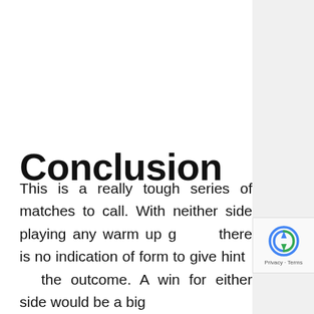Conclusion
This is a really tough series of matches to call. With neither side playing any warm up games there is no indication of form to give hints of the outcome. A win for either side would be a big